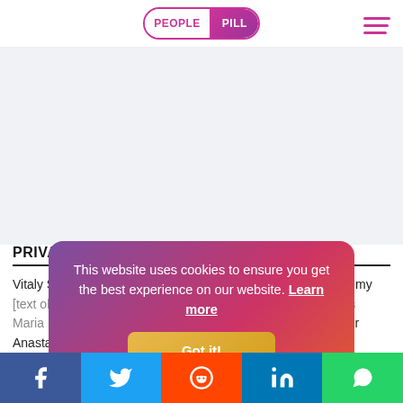PEOPLE PILL
[Figure (other): Advertisement/blank area with light gray background]
PRIVATE LIFE
Vitaly Solomin's first wife was actress Marlena Rudnaya. The marriage ended. On December 28, 1970, he married the actress Maria Solomina (nee Leonidova). In 1974 they had a daughter Anastasia, and in May 1984 – a daughter Elizaveta.
[Figure (other): Cookie consent overlay with gradient purple-to-red background. Text: 'This website uses cookies to ensure you get the best experience on our website. Learn more' with a gold 'Got it!' button.]
Facebook | Twitter | Reddit | LinkedIn | WhatsApp social share buttons